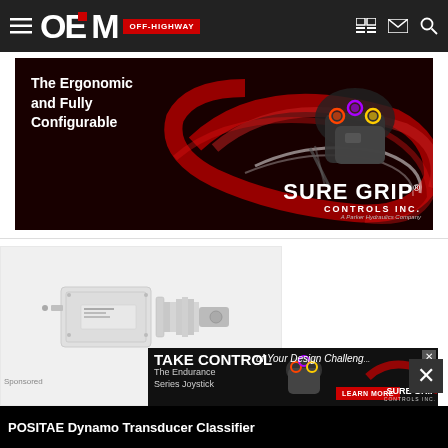OEM OFF-HIGHWAY
[Figure (illustration): Sure Grip Controls Inc. advertisement showing ergonomic joystick controller with colorful illuminated buttons on dark red swirling background. Text reads: The Ergonomic and Fully Configurable. SURE GRIP CONTROLS INC. A Parker Hydraulics Company.]
[Figure (photo): POSITAE Dynamo Transducer product photo showing white/silver mechanical device components on white background]
Sponsored
[Figure (illustration): Sure Grip Controls Inc. bottom banner ad: TAKE CONTROL of Your Design Challenge. The Endurance Series Joystick. LEARN MORE. SURE GRIP CONTROLS INC.]
POSITAE Dynamo Transducer Classifier